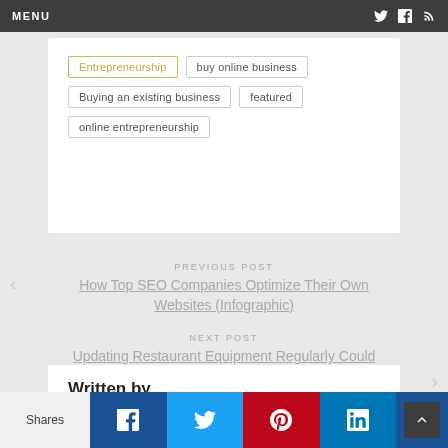MENU
Entrepreneurship
buy online business
Buying an existing business
featured
online entrepreneurship
PREVIOUS POST
How Top SEO Companies Optimize Their Own Websites (Infographic)
NEXT POST
Updating Restaurant Equipment Regularly Could Save You Money in the Long-Term
Written by